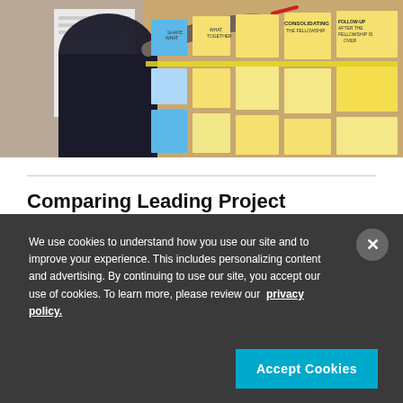[Figure (photo): A business person in a dark suit writing on sticky notes pinned to a cork bulletin board. The board has numerous colorful sticky notes (yellow, blue, pink) with handwritten text arranged in columns.]
Comparing Leading Project Management Tools, Software & Apps
We use cookies to understand how you use our site and to improve your experience. This includes personalizing content and advertising. By continuing to use our site, you accept our use of cookies. To learn more, please review our privacy policy.